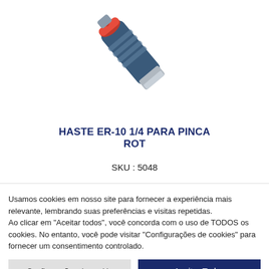[Figure (photo): Product photo of HASTE ER-10 1/4 PARA PINCA ROT tool — a metallic cylindrical tool with a red cap, shown diagonally]
HASTE ER-10 1/4 PARA PINCA ROT
SKU : 5048
Usamos cookies em nosso site para fornecer a experiência mais relevante, lembrando suas preferências e visitas repetidas.
Ao clicar em "Aceitar todos", você concorda com o uso de TODOS os cookies. No entanto, você pode visitar "Configurações de cookies" para fornecer um consentimento controlado.
Configurações de cookie
Aceitar Todos